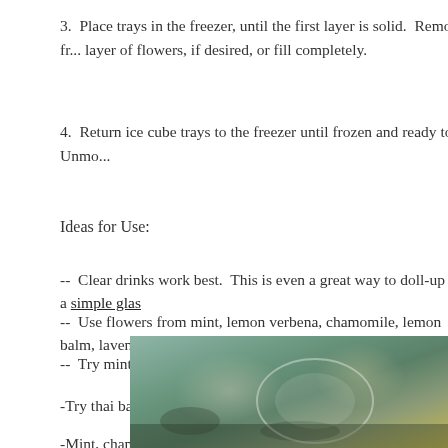3.  Place trays in the freezer, until the first layer is solid.  Remove from f... layer of flowers, if desired, or fill completely.
4.  Return ice cube trays to the freezer until frozen and ready to use.  Unmo...
Ideas for Use:
--  Clear drinks work best.  This is even a great way to doll-up a simple glas...
--  Use flowers from mint, lemon verbena, chamomile, lemon balm, lavende...
--  Try mint, leaves and flowers, in ice cubes for mojitos
-Try thai basil blossoms in ice cubes for thai basil mojitos.
-Mint, chamomile, apple blossoms, rose petals and rose hips would be delis...
-Elderflowers or cucumbery Borage in a gin and tonic on a summer evening...
[Figure (photo): Photo of a glass with ice cubes containing flowers, on a teal/green surface]